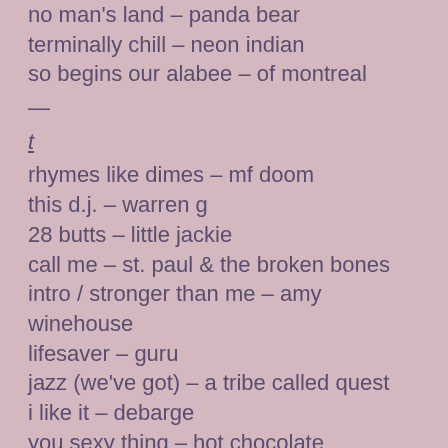no man's land – panda bear
terminally chill – neon indian
so begins our alabee – of montreal
—
t
rhymes like dimes – mf doom
this d.j. – warren g
28 butts – little jackie
call me – st. paul & the broken bones
intro / stronger than me – amy winehouse
lifesaver – guru
jazz (we've got) – a tribe called quest
i like it – debarge
you sexy thing – hot chocolate
ghostwriter – rjd2
loungin' – guru's jazzmatazz